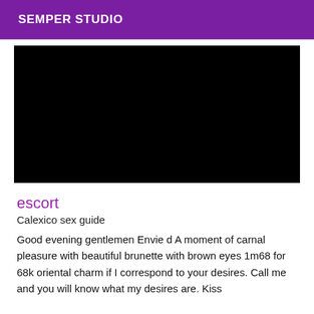SEMPER STUDIO
[Figure (photo): Black rectangle representing a photo placeholder]
escort
Calexico sex guide
Good evening gentlemen Envie d A moment of carnal pleasure with beautiful brunette with brown eyes 1m68 for 68k oriental charm if I correspond to your desires. Call me and you will know what my desires are. Kiss